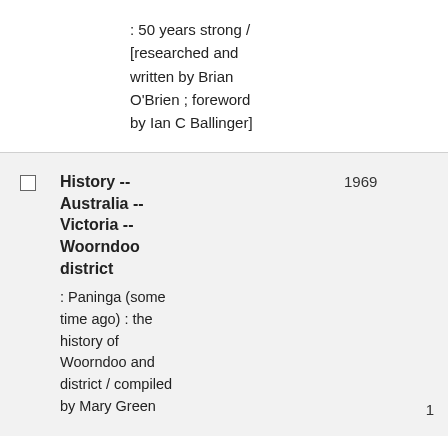: 50 years strong / [researched and written by Brian O'Brien ; foreword by Ian C Ballinger]
|  | Title | Year | Count |
| --- | --- | --- | --- |
| ☐ | History -- Australia -- Victoria -- Woorndoo district
: Paninga (some time ago) : the history of Woorndoo and district / compiled by Mary Green | 1969 | 1 |